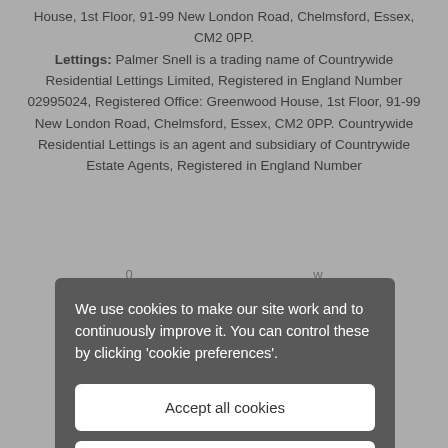House, 1st Floor, 91-99 New London Road, Chelmsford, Essex, CM2 0PP. Lettings: Palmer Snell is a trading name of Countrywide Residential Lettings Limited, Registered in England Number 02995024, Registered Office: Greenwood House, 1st Floor, 91-99 New London Road, Chelmsford, Essex, CM2 0PP. Countrywide Residential Lettings is an agent and subsidiary of Countrywide Estate Agents, Registered in England Number
[Figure (screenshot): Cookie consent overlay modal with dark grey background covering lower portion of page. Contains text 'We use cookies to make our site work and to continuously improve it. You can control these by clicking cookie preferences.' with two white buttons: 'Accept all cookies' and 'Cookie preferences'.]